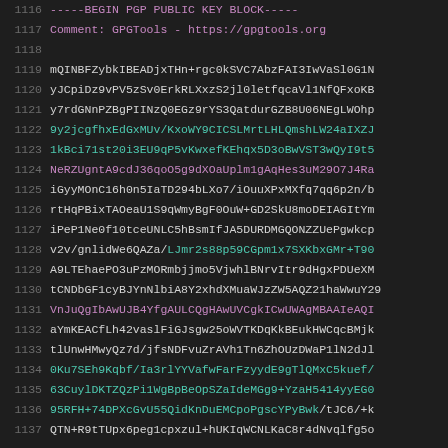[Figure (screenshot): Code editor view showing PGP public key block content with line numbers 1116-1137. Lines feature syntax highlighting in multiple colors: gray for line numbers, teal/cyan for some key data, purple for comment line, and default light gray for other key data.]